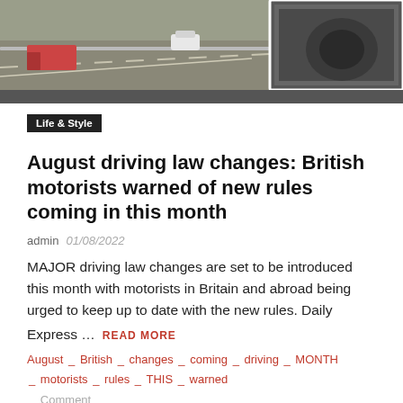[Figure (photo): Road/highway scene with vehicles and road infrastructure viewed from above]
Life & Style
August driving law changes: British motorists warned of new rules coming in this month
admin  01/08/2022
MAJOR driving law changes are set to be introduced this month with motorists in Britain and abroad being urged to keep up to date with the new rules. Daily Express …  READ MORE
August _ British _ changes _ coming _ driving _ MONTH _ motorists _ rules _ THIS _ warned
_ Comment